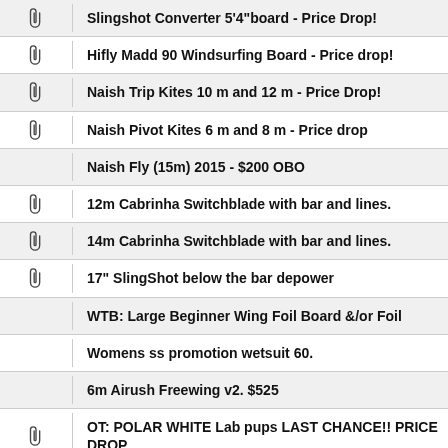Slingshot Converter 5'4"board - Price Drop!
Hifly Madd 90 Windsurfing Board - Price drop!
Naish Trip Kites 10 m and 12 m - Price Drop!
Naish Pivot Kites 6 m and 8 m - Price drop
Naish Fly (15m) 2015 - $200 OBO
12m Cabrinha Switchblade with bar and lines.
14m Cabrinha Switchblade with bar and lines.
17" SlingShot below the bar depower
WTB: Large Beginner Wing Foil Board &/or Foil
Womens ss promotion wetsuit 60.
6m Airush Freewing v2. $525
OT: POLAR WHITE Lab pups LAST CHANCE!! PRICE DROP
SOLD
FS: Slingshot RPX V1 8m
Naish Hover wing foil board 60L